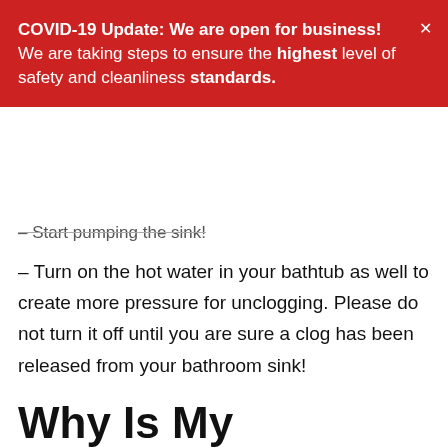COVID-19 Update: We are open for business! We are taking steps to ensure the highest level of safety and cleanliness standards.
– Start pumping the sink!
– Turn on the hot water in your bathtub as well to create more pressure for unclogging. Please do not turn it off until you are sure a clog has been released from your bathroom sink!
Why Is My Bathroom Sink Clogged?